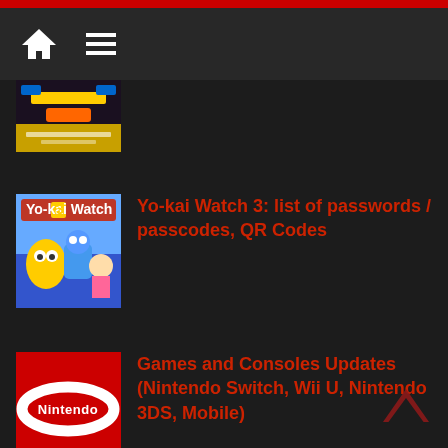Navigation bar with home and menu icons
[Figure (screenshot): Game thumbnail partially visible - appears to be a Pokemon Masters EX or similar game cover]
[Figure (illustration): Yo-kai Watch 3 game cover art with colorful animated characters]
Yo-kai Watch 3: list of passwords / passcodes, QR Codes
[Figure (logo): Nintendo logo on red background]
Games and Consoles Updates (Nintendo Switch, Wii U, Nintendo 3DS, Mobile)